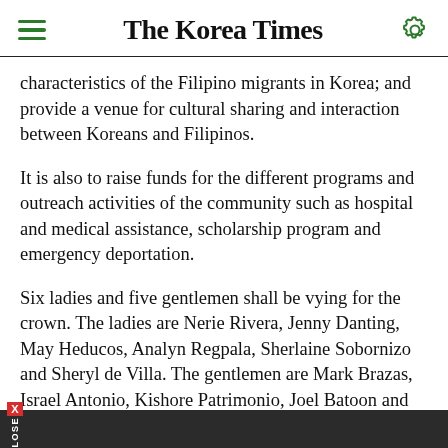The Korea Times
characteristics of the Filipino migrants in Korea; and provide a venue for cultural sharing and interaction between Koreans and Filipinos.
It is also to raise funds for the different programs and outreach activities of the community such as hospital and medical assistance, scholarship program and emergency deportation.
Six ladies and five gentlemen shall be vying for the crown. The ladies are Nerie Rivera, Jenny Danting, May Heducos, Analyn Regpala, Sherlaine Sobornizo and Sheryl de Villa. The gentlemen are Mark Brazas, Israel Antonio, Kishore Patrimonio, Joel Batoon and